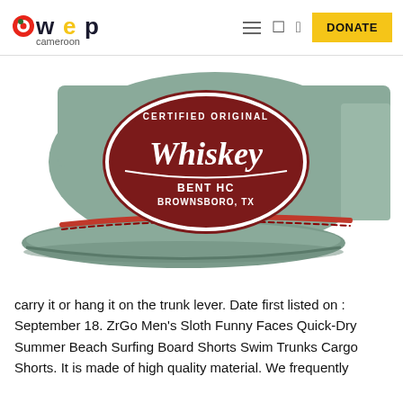awep cameroon — DONATE
[Figure (photo): A grey flat-brim cap with a red oval patch reading 'CERTIFIED ORIGINAL Whiskey Bent HC BROWNSBORO, TX', with a red rope cord accent along the brim.]
carry it or hang it on the trunk lever. Date first listed on : September 18. ZrGo Men's Sloth Funny Faces Quick-Dry Summer Beach Surfing Board Shorts Swim Trunks Cargo Shorts. It is made of high quality material. We frequently